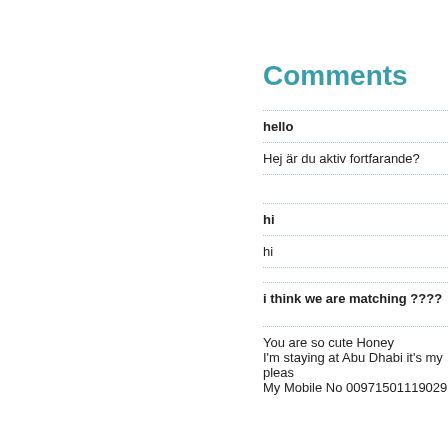Comments
hello
Hej är du aktiv fortfarande?
hi
hi
i think we are matching ????
You are so cute Honey
I'm staying at Abu Dhabi it's my pleas
My Mobile No  00971501119029